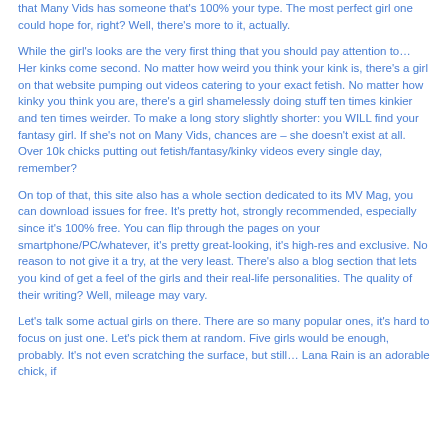that Many Vids has someone that's 100% your type. The most perfect girl one could hope for, right? Well, there's more to it, actually.
While the girl's looks are the very first thing that you should pay attention to… Her kinks come second. No matter how weird you think your kink is, there's a girl on that website pumping out videos catering to your exact fetish. No matter how kinky you think you are, there's a girl shamelessly doing stuff ten times kinkier and ten times weirder. To make a long story slightly shorter: you WILL find your fantasy girl. If she's not on Many Vids, chances are – she doesn't exist at all. Over 10k chicks putting out fetish/fantasy/kinky videos every single day, remember?
On top of that, this site also has a whole section dedicated to its MV Mag, you can download issues for free. It's pretty hot, strongly recommended, especially since it's 100% free. You can flip through the pages on your smartphone/PC/whatever, it's pretty great-looking, it's high-res and exclusive. No reason to not give it a try, at the very least. There's also a blog section that lets you kind of get a feel of the girls and their real-life personalities. The quality of their writing? Well, mileage may vary.
Let's talk some actual girls on there. There are so many popular ones, it's hard to focus on just one. Let's pick them at random. Five girls would be enough, probably. It's not even scratching the surface, but still… Lana Rain is an adorable chick, if